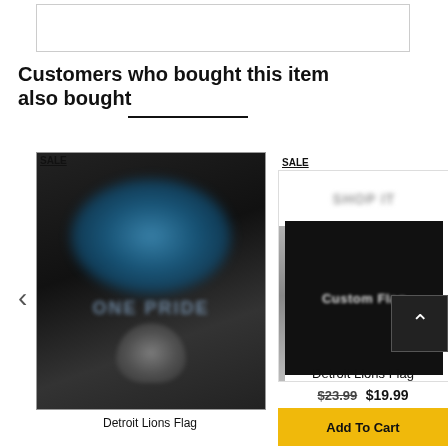[Figure (other): Top rectangular placeholder box with light border]
Customers who bought this item also bought
[Figure (photo): Detroit Lions Pride blurred product image with SALE badge, dark background with blue lion logo and shield graphic]
Detroit Lions Flag
[Figure (photo): Custom Flag blurred product image with SALE badge, dark banner on white background]
Detroit Lions Flag
$23.99  $19.99
Add To Cart